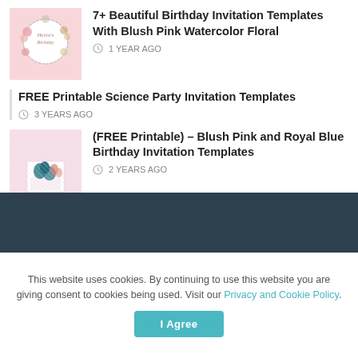[Figure (photo): Birthday invitation with floral watercolor design]
7+ Beautiful Birthday Invitation Templates With Blush Pink Watercolor Floral
1 YEAR AGO
FREE Printable Science Party Invitation Templates
3 YEARS AGO
[Figure (photo): Birthday cake with floral decorations on pink background]
(FREE Printable) – Blush Pink and Royal Blue Birthday Invitation Templates
2 YEARS AGO
This website uses cookies. By continuing to use this website you are giving consent to cookies being used. Visit our Privacy and Cookie Policy.